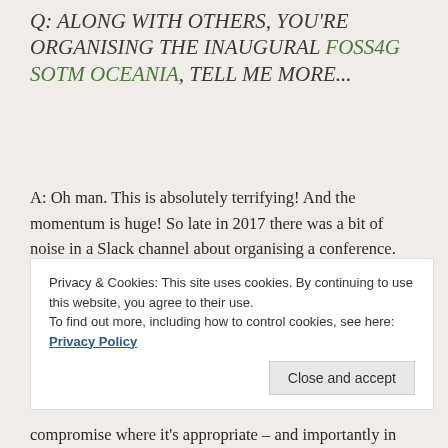Q: ALONG WITH OTHERS, YOU'RE ORGANISING THE INAUGURAL FOSS4G SOTM OCEANIA, TELL ME MORE...
A: Oh man. This is absolutely terrifying! And the momentum is huge! So late in 2017 there was a bit of noise in a Slack channel about organising a conference. And fast forward to now it seems to have just happened organically, and hugely.
As the sponsorship coordinator my life has been really easy — the sponsors come to us! It's been great to work with the sponsors...
Privacy & Cookies: This site uses cookies. By continuing to use this website, you agree to their use.
To find out more, including how to control cookies, see here: Privacy Policy
Close and accept
compromise where it's appropriate – and importantly in